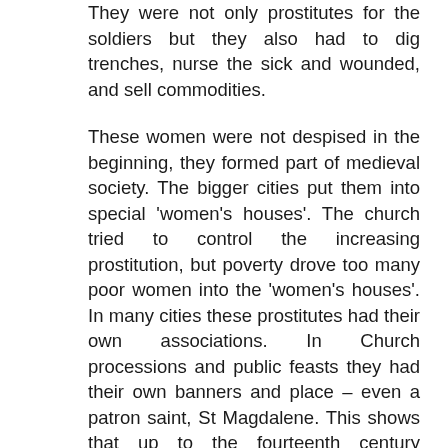They were not only prostitutes for the soldiers but they also had to dig trenches, nurse the sick and wounded, and sell commodities.
These women were not despised in the beginning, they formed part of medieval society. The bigger cities put them into special 'women's houses'. The church tried to control the increasing prostitution, but poverty drove too many poor women into the 'women's houses'. In many cities these prostitutes had their own associations. In Church processions and public feasts they had their own banners and place – even a patron saint, St Magdalene. This shows that up to the fourteenth century prostitution was not considered a bad thing. But at the end of the fourteenth century, the Statues of Meran rule that prostitutes should stay away from public feasts and dances where 'burgers women and other honorable women are'. They should have a yellow ribbon on their shoes so that everyone could distinguish them from ·the 'decent women' (Becker el